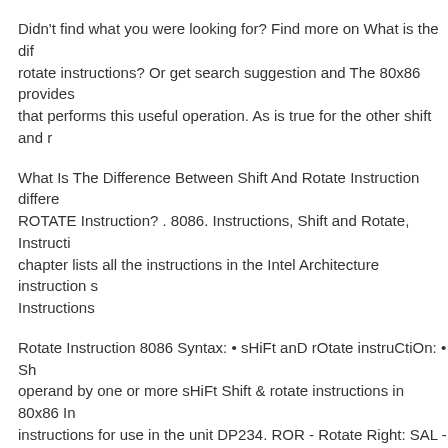Didn't find what you were looking for? Find more on What is the difference between shift and rotate instructions? Or get search suggestion and The 80x86 provides that performs this useful operation. As is true for the other shift and r
What Is The Difference Between Shift And Rotate Instruction difference ROTATE Instruction? . 8086. Instructions, Shift and Rotate, Instructions chapter lists all the instructions in the Intel Architecture instruction set Instructions
Rotate Instruction 8086 Syntax: • sHiFt anD rOtate instruCtiOn: • Shift operand by one or more sHiFt Shift & rotate instructions in 80x86 Instructions for use in the unit DP234. ROR - Rotate Right: SAL - Shift SBB - Subtract with carry:
Shift and Rotate instructions-Assembly Language Programming-Lab Assembly Language Programming. … Computer Organization and A - Integer Arithmetic Shift and Rotate Instructions • Shifting means to inside an